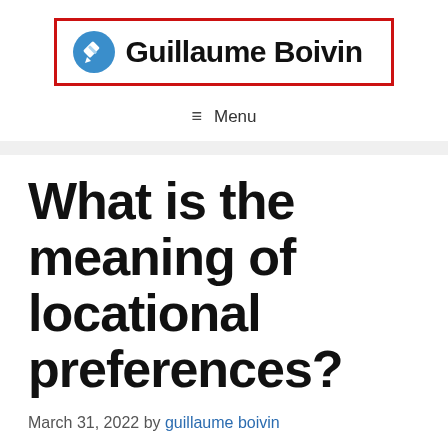Guillaume Boivin
≡ Menu
What is the meaning of locational preferences?
March 31, 2022 by guillaume boivin